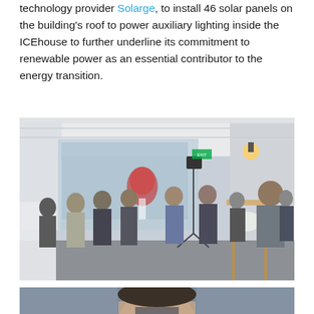technology provider Solarge, to install 46 solar panels on the building's roof to power auxiliary lighting inside the ICEhouse to further underline its commitment to renewable power as an essential contributor to the energy transition.
[Figure (photo): A group of people gathered indoors in a bright marquee-style room. Several men in suits are speaking and laughing. A tall wooden table stands in the foreground right. A camera on a tripod is visible in the background. Floral arrangements and decorative lighting are present.]
[Figure (photo): Partial view of a person's face cropped at the bottom of the page.]